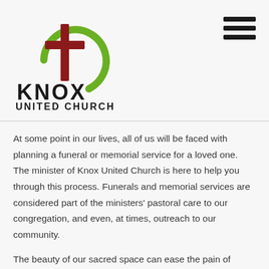[Figure (logo): Knox United Church logo: green circular arc with red cross inside, above the text KNOX in bold black and UNITED CHURCH in smaller bold black letters]
At some point in our lives, all of us will be faced with planning a funeral or memorial service for a loved one. The minister of Knox United Church is here to help you through this process. Funerals and memorial services are considered part of the ministers' pastoral care to our congregation, and even, at times, outreach to our community.
The beauty of our sacred space can ease the pain of bereavement. If you wish to hold a funeral at Knox United Church, contact our minister through the office. A Funeral Wake is another part of the grieving process. It is a time when family members meet